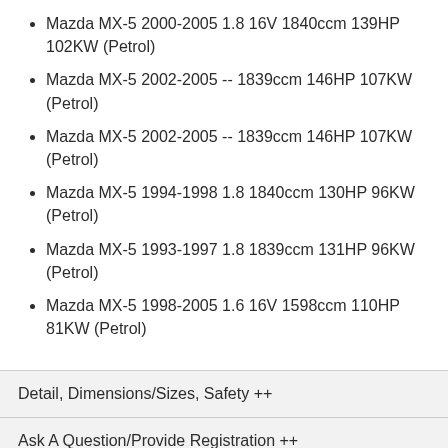Mazda MX-5 2000-2005 1.8 16V 1840ccm 139HP 102KW (Petrol)
Mazda MX-5 2002-2005 -- 1839ccm 146HP 107KW (Petrol)
Mazda MX-5 2002-2005 -- 1839ccm 146HP 107KW (Petrol)
Mazda MX-5 1994-1998 1.8 1840ccm 130HP 96KW (Petrol)
Mazda MX-5 1993-1997 1.8 1839ccm 131HP 96KW (Petrol)
Mazda MX-5 1998-2005 1.6 16V 1598ccm 110HP 81KW (Petrol)
Detail, Dimensions/Sizes, Safety ++
Ask A Question/Provide Registration ++
Warranty ++